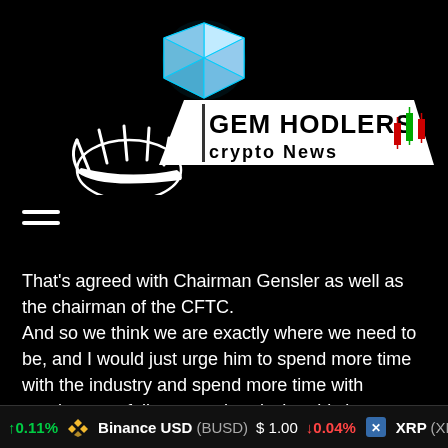[Figure (logo): Gem Hodlers Crypto News logo with hands holding a diamond gem and stylized text with candlestick chart icon]
[Figure (other): Hamburger menu icon (three horizontal lines)]
That's agreed with Chairman Gensler as well as the chairman of the CFTC.
And so we think we are exactly where we need to be, and I would just urge him to spend more time with the industry and spend more time with regulators to fully comprehend what this lays out.
The places where we have created more definitions is to increase oversight and to increase and specify which assets are, indeed, securities, and so that's why we've added the
↑0.11%  Binance USD (BUSD)  $1.00  ↓0.04%  XRP (XRP)  $